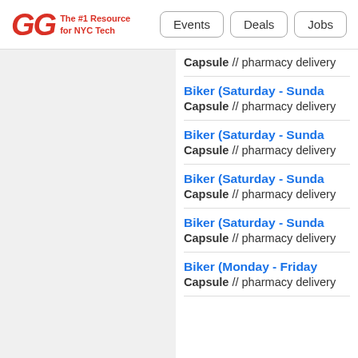GG The #1 Resource for NYC Tech | Events | Deals | Jobs
Capsule // pharmacy delivery
Biker (Saturday - Sunday) — Capsule // pharmacy delivery
Biker (Saturday - Sunday) — Capsule // pharmacy delivery
Biker (Saturday - Sunday) — Capsule // pharmacy delivery
Biker (Saturday - Sunday) — Capsule // pharmacy delivery
Biker (Monday - Friday) — Capsule // pharmacy delivery